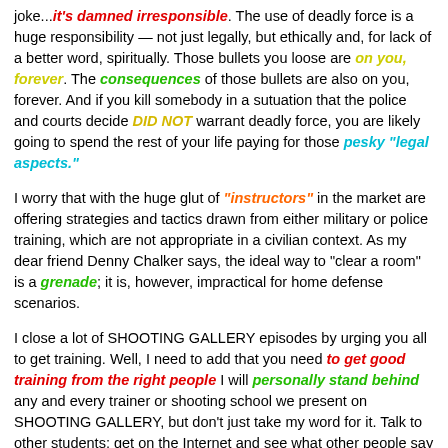joke...*it's damned irresponsible*. The use of deadly force is a huge responsibility — not just legally, but ethically and, for lack of a better word, spiritually. Those bullets you loose are *on you, forever*. The *consequences* of those bullets are also on you, forever. And if you kill somebody in a sutuation that the police and courts decide *DID NOT* warrant deadly force, you are likely going to spend the rest of your life paying for those *pesky "legal aspects."*
I worry that with the huge glut of *"instructors"* in the market are offering strategies and tactics drawn from either military or police training, which are not appropriate in a civilian context. As my dear friend Denny Chalker says, the ideal way to "clear a room" is a *grenade*; it is, however, impractical for home defense scenarios.
I close a lot of SHOOTING GALLERY episodes by urging you all to get training. Well, I need to add that you need *to get good training from the right people* I will *personally stand behind* any and every trainer or shooting school we present on SHOOTING GALLERY, but don't just take my word for it. Talk to other students; get on the Internet and see what other people say about that training school or that...